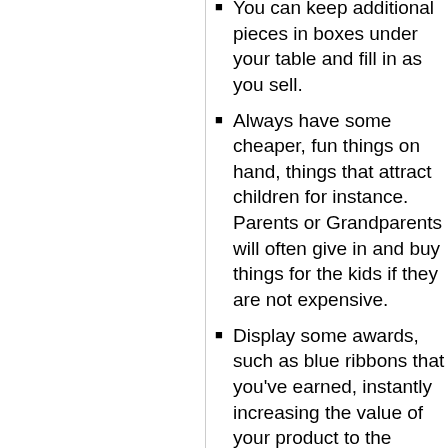You can keep additional pieces in boxes under your table and fill in as you sell.
Always have some cheaper, fun things on hand, things that attract children for instance. Parents or Grandparents will often give in and buy things for the kids if they are not expensive.
Display some awards, such as blue ribbons that you've earned, instantly increasing the value of your product to the consumer.
If it works with your project, offer something special. Tell them you will take it home and engrave their name on